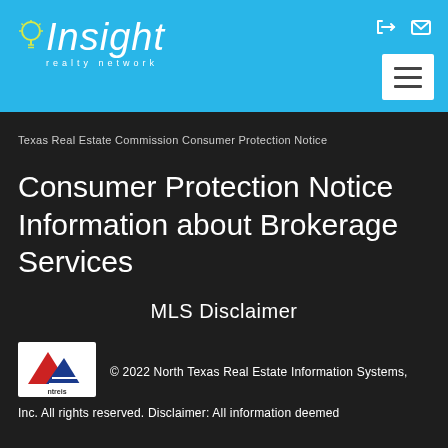[Figure (logo): Insight Realty Network logo with light bulb icon on blue header background]
Texas Real Estate Commission Consumer Protection Notice
Consumer Protection Notice Information about Brokerage Services
MLS Disclaimer
[Figure (logo): NTREIS logo - North Texas Real Estate Information Systems with red and blue mountain/flag icon]
© 2022 North Texas Real Estate Information Systems, Inc. All rights reserved. Disclaimer: All information deemed reliable but not guaranteed and should be independently verified.